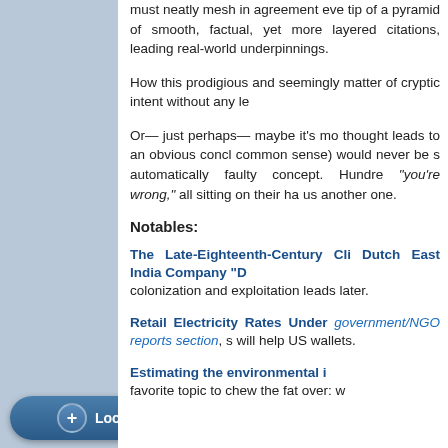must neatly mesh in agreement eve tip of a pyramid of smooth, factual, yet more layered citations, leading real-world underpinnings.
How this prodigious and seemingly matter of cryptic intent without any le
Or— just perhaps— maybe it's mo thought leads to an obvious concl common sense) would never be s automatically faulty concept. Hundre "you're wrong," all sitting on their ha us another one.
Notables:
The Late-Eighteenth-Century Cli Dutch East India Company "D colonization and exploitation leads later.
Retail Electricity Rates Under government/NGO reports section, s will help US wallets.
Estimating the environmental i favorite topic to chew the fat over: w